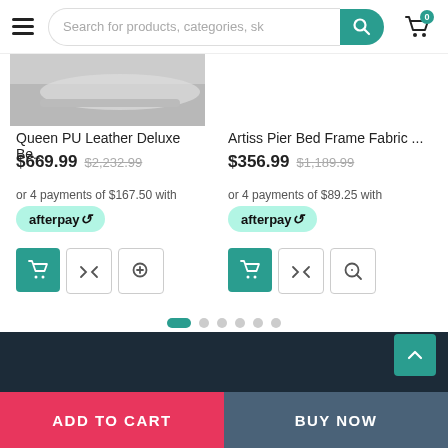[Figure (screenshot): E-commerce website header with hamburger menu, search bar reading 'Search for products, categories, sk', teal search button with magnifying glass icon, and shopping cart icon with badge showing 0]
Queen PU Leather Deluxe Be...
$669.99  $2,232.99
or 4 payments of $167.50 with
afterpay
Artiss Pier Bed Frame Fabric ...
$356.99  $1,189.99
or 4 payments of $89.25 with
afterpay
ADD TO CART
BUY NOW